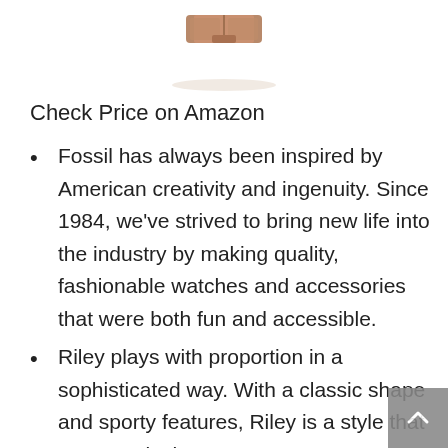[Figure (photo): Partial image of a rose gold / bronze toned watch band/clasp at the top of the page, cropped showing only the clasp area]
Check Price on Amazon
Fossil has always been inspired by American creativity and ingenuity. Since 1984, we've strived to bring new life into the industry by making quality, fashionable watches and accessories that were both fun and accessible.
Riley plays with proportion in a sophisticated way. With a classic shape and sporty features, Riley is a style that transcends the season.